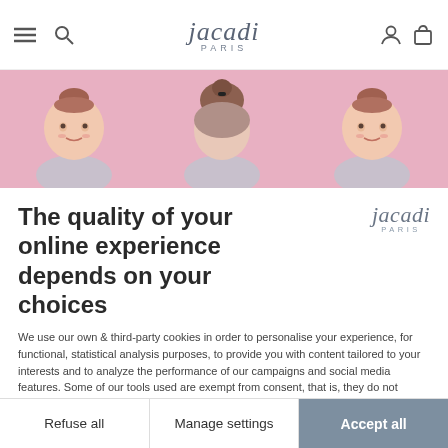[Figure (screenshot): Jacadi Paris website navigation bar with hamburger menu, search icon, Jacadi Paris logo in center, user account and shopping bag icons]
[Figure (photo): Pink banner image showing three photos of a young girl with hair up, wearing grey clothing, on a pink background]
The quality of your online experience depends on your choices
[Figure (logo): Jacadi Paris logo in grey italic script]
We use our own & third-party cookies in order to personalise your experience, for functional, statistical analysis purposes, to provide you with content tailored to your interests and to analyze the performance of our campaigns and social media features. Some of our tools used are exempt from consent, that is, they do not require your consent due to the fact that they don't collect personal data about you. These exempt tools are used only for strictly necessary control of our performance and customization of our site. No secret between us, you have the possibility to accept all our cookies or to partially refuse to see them in full on your
Refuse all
Manage settings
Accept all